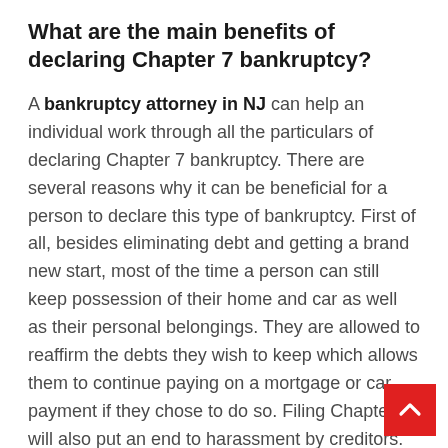What are the main benefits of declaring Chapter 7 bankruptcy?
A bankruptcy attorney in NJ can help an individual work through all the particulars of declaring Chapter 7 bankruptcy. There are several reasons why it can be beneficial for a person to declare this type of bankruptcy. First of all, besides eliminating debt and getting a brand new start, most of the time a person can still keep possession of their home and car as well as their personal belongings. They are allowed to reaffirm the debts they wish to keep which allows them to continue paying on a mortgage or car payment if they chose to do so. Filing Chapter 7 will also put an end to harassment by creditors. They must cease from any type of contact with a debtor who has begun the proceedings of a bankruptcy. Another benefit of declaring Chapter 7 is that any garnishment of